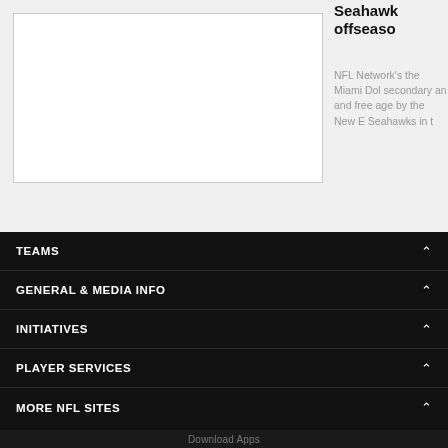[Figure (photo): White image/card placeholder on light gray background]
Seahawks offseason
NFL Network's the Miami Dol secondary and and free agen by the New En Seahawks in t
TEAMS
GENERAL & MEDIA INFO
INITIATIVES
PLAYER SERVICES
MORE NFL SITES
Download Apps